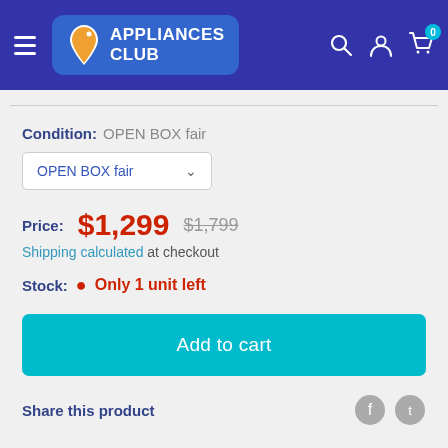[Figure (logo): Appliances Club logo with shopping tag icon on blue background header with hamburger menu, search, account, and cart icons]
Condition: OPEN BOX fair
OPEN BOX fair (dropdown)
Price: $1,299  $1,799
Shipping calculated at checkout
Stock: Only 1 unit left
Add to cart
Share this product